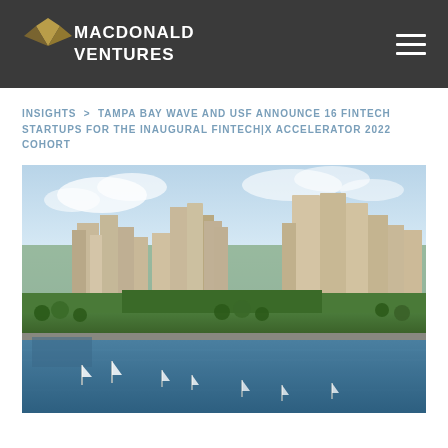MACDONALD VENTURES
INSIGHTS > TAMPA BAY WAVE AND USF ANNOUNCE 16 FINTECH STARTUPS FOR THE INAUGURAL FINTECH|X ACCELERATOR 2022 COHORT
[Figure (photo): Aerial view of Tampa Bay / St. Petersburg waterfront skyline with boats on the water, green parks along the shore, and high-rise buildings in the background under a partly cloudy sky.]